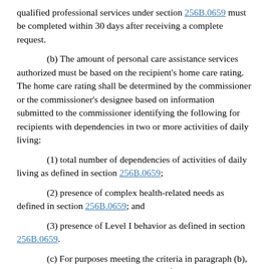qualified professional services under section 256B.0659 must be completed within 30 days after receiving a complete request.
(b) The amount of personal care assistance services authorized must be based on the recipient's home care rating. The home care rating shall be determined by the commissioner or the commissioner's designee based on information submitted to the commissioner identifying the following for recipients with dependencies in two or more activities of daily living:
(1) total number of dependencies of activities of daily living as defined in section 256B.0659;
(2) presence of complex health-related needs as defined in section 256B.0659; and
(3) presence of Level I behavior as defined in section 256B.0659.
(c) For purposes meeting the criteria in paragraph (b), the methodology to determine total time for personal care assistance services for each home care rating is based on the median paid units per day for each home care rating from fiscal year 2007 data for the personal care assistance program